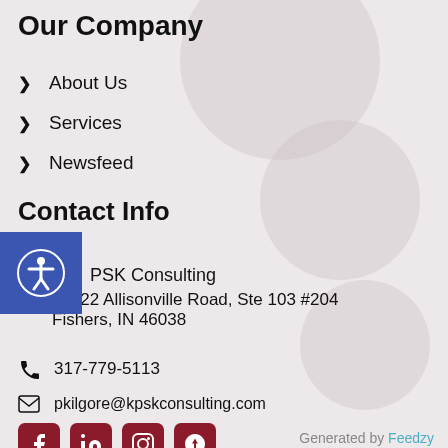Our Company
About Us
Services
Newsfeed
Contact Info
PSK Consulting
11722 Allisonville Road, Ste 103 #204 Fishers, IN 46038
317-779-5113
pkilgore@kpskconsulting.com
Generated by Feedzy